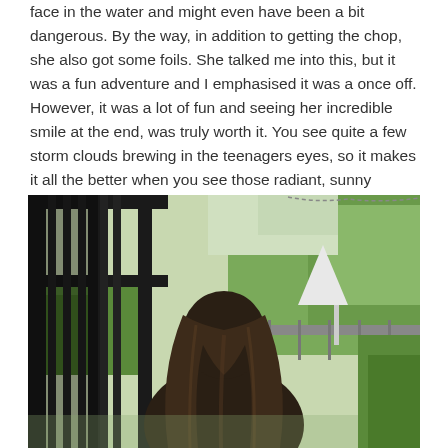face in the water and might even have been a bit dangerous. By the way, in addition to getting the chop, she also got some foils. She talked me into this, but it was a fun adventure and I emphasised it was a once off. However, it was a lot of fun and seeing her incredible smile at the end, was truly worth it. You see quite a few storm clouds brewing in the teenagers eyes, so it makes it all the better when you see those radiant, sunny smiles and all is good.
[Figure (photo): A person with long dark hair seen from behind, standing on a porch or balcony with black railings, looking out at a garden with trees and green shrubs on a sunny day. A white umbrella or cover is visible in the background.]